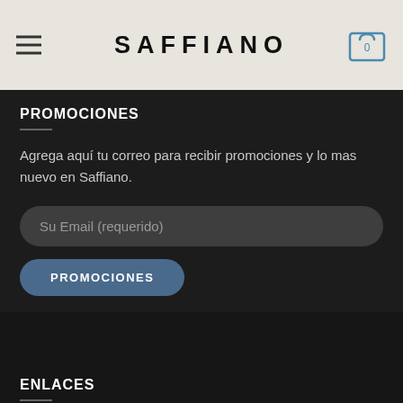SAFFIANO
PROMOCIONES
Agrega aquí tu correo para recibir promociones y lo mas nuevo en Saffiano.
Su Email (requerido)
PROMOCIONES
ENLACES
Preguntas Frecuentes